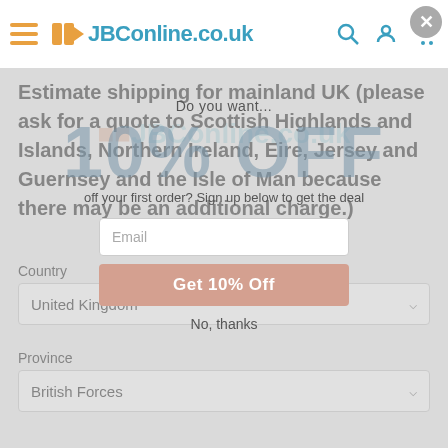JBConline.co.uk
Estimate shipping for mainland UK (please ask for a quote to Scottish Highlands and Islands, Northern Ireland, Eire, Jersey and Guernsey and the Isle of Man because there may be an additional charge.)
Country
United Kingdom
Province
British Forces
Do you want...
10% OFF
off your first order? Sign up below to get the deal
Email
Get 10% Off
No, thanks